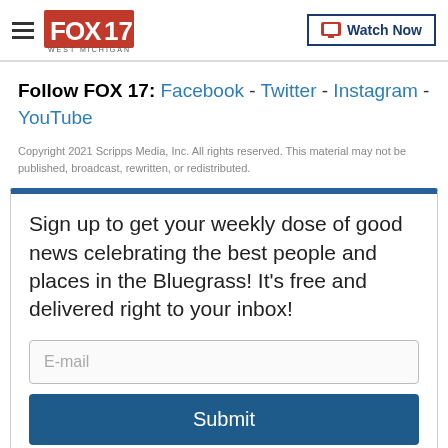FOX 17 WEST MICHIGAN | Watch Now
Follow FOX 17: Facebook - Twitter - Instagram - YouTube
Copyright 2021 Scripps Media, Inc. All rights reserved. This material may not be published, broadcast, rewritten, or redistributed.
Sign up to get your weekly dose of good news celebrating the best people and places in the Bluegrass! It's free and delivered right to your inbox!
E-mail
Submit